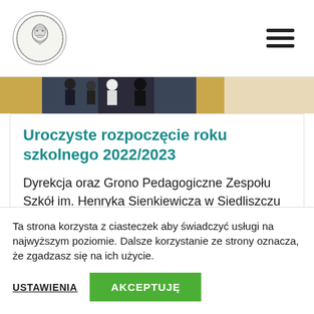[Figure (logo): Circular school logo with portrait of Henryk Sienkiewicz, black and white illustration with border]
[Figure (photo): Photo strip showing school ceremony scene with people in formal attire, yellow/gold and dark tones]
Uroczyste rozpoczęcie roku szkolnego 2022/2023
Dyrekcja oraz Grono Pedagogiczne Zespołu Szkół im. Henryka Sienkiewicza w Siedliszczu serdecznie zapraszają Uczniów i…
Ta strona korzysta z ciasteczek aby świadczyć usługi na najwyższym poziomie. Dalsze korzystanie ze strony oznacza, że zgadzasz się na ich użycie.
USTAWIENIA   AKCEPTUJĘ